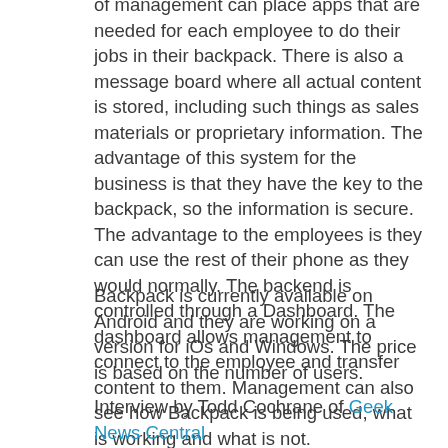of management can place apps that are needed for each employee to do their jobs in their backpack. There is also a message board where all actual content is stored, including such things as sales materials or proprietary information. The advantage of this system for the business is that they have the key to the backpack, so the information is secure. The advantage to the employees is they can use the rest of their phone as they would normally. The backend is controlled through a Dashboard. The dashboard allows management to connect to the employee and transfer content to them. Management can also see how Backpack is being used, what is working and what is not.
Backpack is currently available on Android and they are working on a version for iOs and Windows. The price is based on the number of users.
Interview by Todd Cochrane of Geek News Central